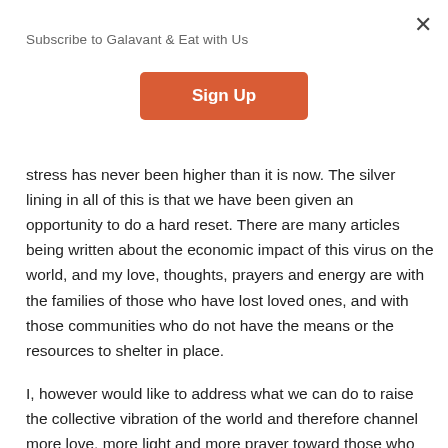Subscribe to Galavant & Eat with Us
Sign Up
stress has never been higher than it is now. The silver lining in all of this is that we have been given an opportunity to do a hard reset. There are many articles being written about the economic impact of this virus on the world, and my love, thoughts, prayers and energy are with the families of those who have lost loved ones, and with those communities who do not have the means or the resources to shelter in place.
I, however would like to address what we can do to raise the collective vibration of the world and therefore channel more love, more light and more prayer toward those who need it most.